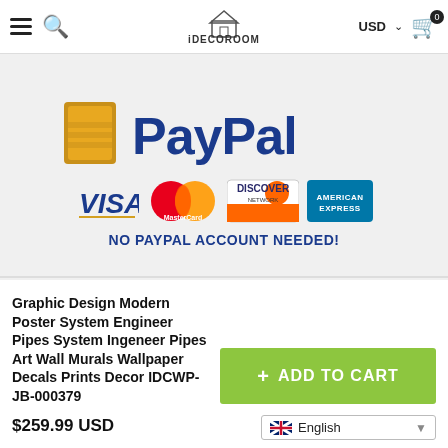[Figure (screenshot): iDecoRoom website navigation bar with hamburger menu, search icon, iDecoRoom logo, USD currency selector, and cart icon with 0 badge]
[Figure (infographic): PayPal payment banner showing PayPal logo, Visa, MasterCard, Discover Network, American Express card logos, and text 'NO PAYPAL ACCOUNT NEEDED!']
Graphic Design Modern Poster System Engineer Pipes System Ingeneer Pipes Art Wall Murals Wallpaper Decals Prints Decor IDCWP-JB-000379
[Figure (other): Green ADD TO CART button with plus sign]
$259.99 USD
[Figure (other): English language selector dropdown with UK flag]